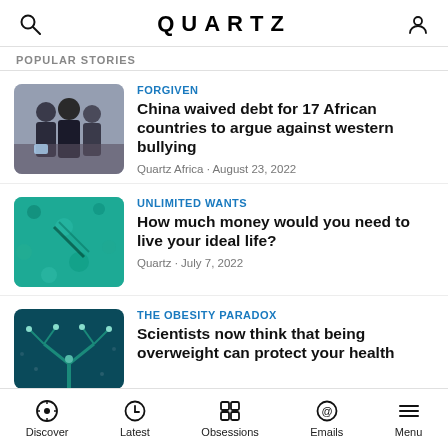QUARTZ
POPULAR STORIES
[Figure (photo): Two men in suits at an official event, one appears to be a prominent Chinese official]
FORGIVEN
China waived debt for 17 African countries to argue against western bullying
Quartz Africa · August 23, 2022
[Figure (photo): Close-up teal/green texture, possibly fabric or natural material]
UNLIMITED WANTS
How much money would you need to live your ideal life?
Quartz · July 7, 2022
[Figure (photo): Dark teal image of branching tree-like structure with small dots, possibly neural or biological imagery]
THE OBESITY PARADOX
Scientists now think that being overweight can protect your health
Discover  Latest  Obsessions  Emails  Menu